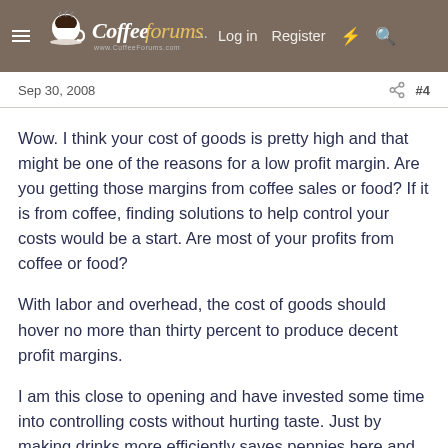CoffeeForums.com  Log in  Register
Sep 30, 2008  #4
Wow. I think your cost of goods is pretty high and that might be one of the reasons for a low profit margin. Are you getting those margins from coffee sales or food? If it is from coffee, finding solutions to help control your costs would be a start. Are most of your profits from coffee or food?
With labor and overhead, the cost of goods should hover no more than thirty percent to produce decent profit margins.
I am this close to opening and have invested some time into controlling costs without hurting taste. Just by making drinks more efficiently saves pennies here and